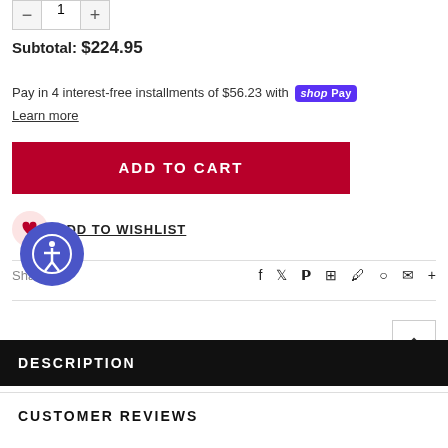Subtotal: $224.95
Pay in 4 interest-free installments of $56.23 with Shop Pay
Learn more
ADD TO CART
ADD TO WISHLIST
Share
DESCRIPTION
CUSTOMER REVIEWS